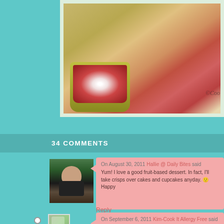[Figure (photo): Food photo showing a yellow/olive colored ramekin dish with red berry crisp/crumble dessert with red sauce, on a wooden surface. Watermark reads ©Coo (partially visible).]
34 COMMENTS
[Figure (photo): Avatar photo of a woman with dark brown hair against a dark background]
On August 30, 2011 Hallie @ Daily Bites said
Yum! I love a good fruit-based dessert. In fact, I'll take crisps over cakes and cupcakes anyday. 🙂 Happy
Reply
[Figure (photo): Small generic image icon for commenter avatar]
On September 6, 2011 Kim-Cook It Allergy Free said
Thanks Hallie! I am with you in taking crumbles and too! Thanks for the Birthday wishes! ☺
Reply